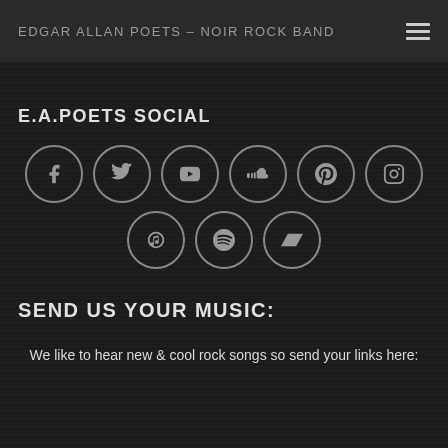EDGAR ALLAN POETS – NOIR ROCK BAND
E.A.POETS SOCIAL
[Figure (infographic): Nine social media icon circles arranged in two rows: Facebook, Twitter, YouTube, SoundCloud, Pinterest, Instagram in top row; iTunes/music, Spotify, Bandcamp in bottom row.]
SEND US YOUR MUSIC:
We like to hear new & cool rock songs so send your links here: